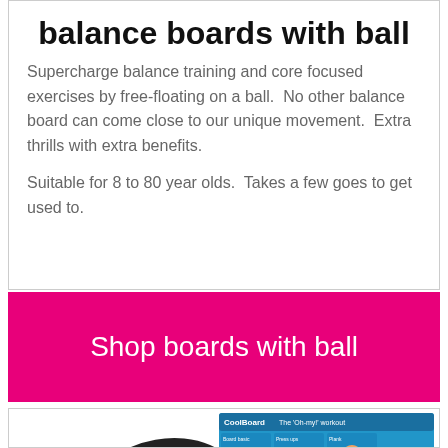balance boards with ball
Supercharge balance training and core focused exercises by free-floating on a ball.  No other balance board can come close to our unique movement.  Extra thrills with extra benefits.
Suitable for 8 to 80 year olds.  Takes a few goes to get used to.
Shop boards with ball
[Figure (photo): A balance board product with a ball, shown alongside an exercise guide poster labeled 'CoolBoard - The Oh-my! workout']